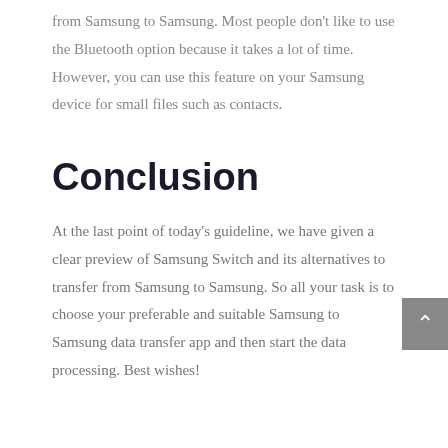from Samsung to Samsung. Most people don't like to use the Bluetooth option because it takes a lot of time. However, you can use this feature on your Samsung device for small files such as contacts.
Conclusion
At the last point of today's guideline, we have given a clear preview of Samsung Switch and its alternatives to transfer from Samsung to Samsung. So all your task is to choose your preferable and suitable Samsung to Samsung data transfer app and then start the data processing. Best wishes!